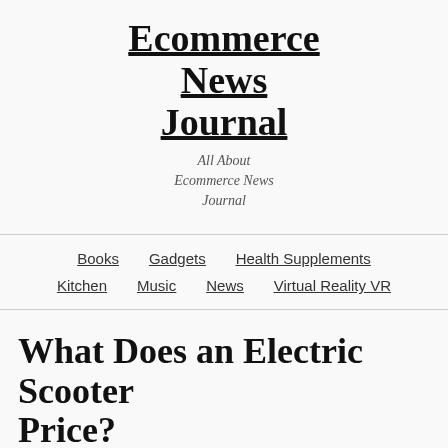Ecommerce News Journal
All About Ecommerce News Journal
Books | Gadgets | Health Supplements | Kitchen | Music | News | Virtual Reality VR
What Does an Electric Scooter Price?